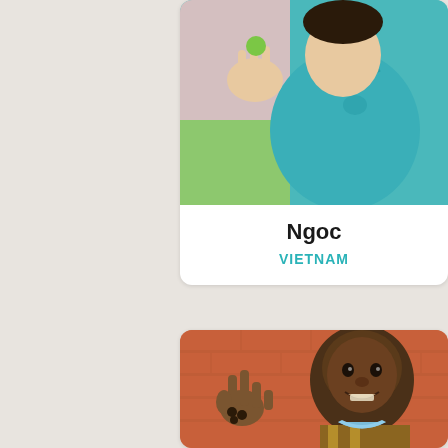[Figure (photo): Photo of Ngoc, a child wearing a teal polo shirt, holding up their hand with a small green object. The background shows a colorful room.]
Ngoc
VIETNAM
[Figure (photo): Photo of a smiling boy standing against an orange brick wall, wearing a brown and yellow shirt with a light blue collar, holding up his hand showing fingers with small dark objects.]